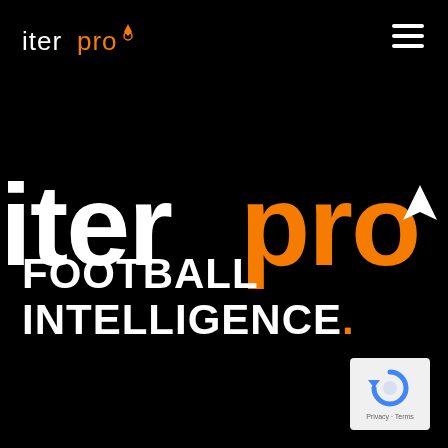[Figure (logo): iterpro logo in top-left: 'iter' in white, 'pro' in orange with a flame/drop icon above the 'o', small size header logo]
[Figure (logo): Large centered iterpro logo: 'iter' in white bold, 'pro' in orange with navigation arrow icon inside the 'o', very large display size]
FOOTBALL INTELLIGENCE.
[Figure (other): reCAPTCHA widget with circular arrow icon and 'Privacy - Terms' text below, white background, bottom-right corner]